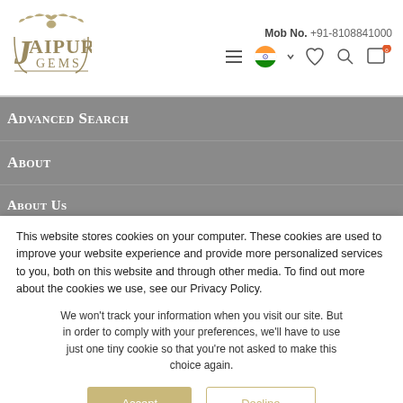[Figure (logo): Jaipur Gems logo with peacock illustration and text]
Mob No. +91-8108841000
Advanced Search
About
About Us
This website stores cookies on your computer. These cookies are used to improve your website experience and provide more personalized services to you, both on this website and through other media. To find out more about the cookies we use, see our Privacy Policy.
We won't track your information when you visit our site. But in order to comply with your preferences, we'll have to use just one tiny cookie so that you're not asked to make this choice again.
Accept
Decline